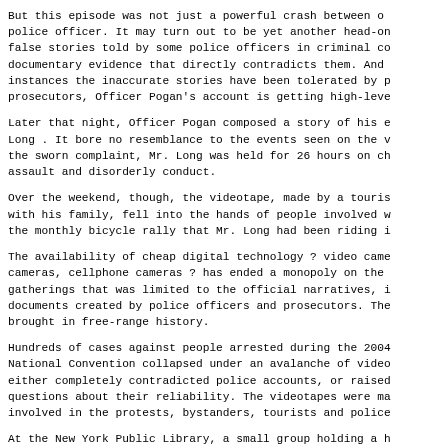But this episode was not just a powerful crash between o police officer. It may turn out to be yet another head-on false stories told by some police officers in criminal co documentary evidence that directly contradicts them. And instances the inaccurate stories have been tolerated by p prosecutors, Officer Pogan's account is getting high-leve
Later that night, Officer Pogan composed a story of his e Long . It bore no resemblance to the events seen on the v the sworn complaint, Mr. Long was held for 26 hours on ch assault and disorderly conduct.
Over the weekend, though, the videotape, made by a touris with his family, fell into the hands of people involved w the monthly bicycle rally that Mr. Long had been riding i
The availability of cheap digital technology ? video came cameras, cellphone cameras ? has ended a monopoly on the gatherings that was limited to the official narratives, i documents created by police officers and prosecutors. The brought in free-range history.
Hundreds of cases against people arrested during the 2004 National Convention collapsed under an avalanche of video either completely contradicted police accounts, or raised questions about their reliability. The videotapes were ma involved in the protests, bystanders, tourists and police
At the New York Public Library, a small group holding a h of the stone lions was arrested and charged with blocking